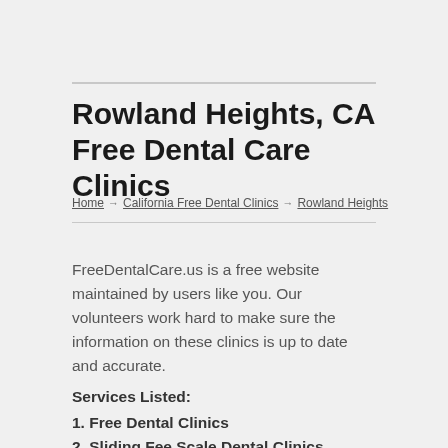Rowland Heights, CA Free Dental Care Clinics
Home → California Free Dental Clinics → Rowland Heights
FreeDentalCare.us is a free website maintained by users like you. Our volunteers work hard to make sure the information on these clinics is up to date and accurate.
Services Listed:
1. Free Dental Clinics
2. Sliding Fee Scale Dental Clinics